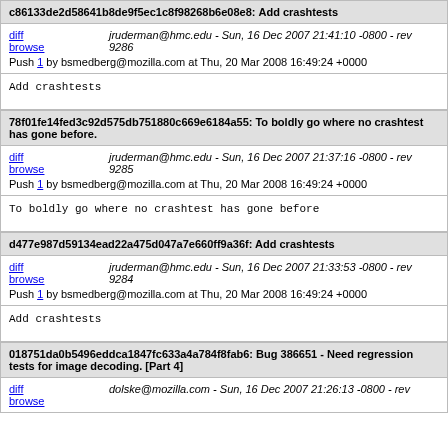c86133de2d58641b8de9f5ec1c8f98268b6e08e8: Add crashtests
diff browse | jruderman@hmc.edu - Sun, 16 Dec 2007 21:41:10 -0800 - rev 9286
Push 1 by bsmedberg@mozilla.com at Thu, 20 Mar 2008 16:49:24 +0000
Add crashtests
78f01fe14fed3c92d575db751880c669e6184a55: To boldly go where no crashtest has gone before.
diff browse | jruderman@hmc.edu - Sun, 16 Dec 2007 21:37:16 -0800 - rev 9285
Push 1 by bsmedberg@mozilla.com at Thu, 20 Mar 2008 16:49:24 +0000
To boldly go where no crashtest has gone before
d477e987d59134ead22a475d047a7e660ff9a36f: Add crashtests
diff browse | jruderman@hmc.edu - Sun, 16 Dec 2007 21:33:53 -0800 - rev 9284
Push 1 by bsmedberg@mozilla.com at Thu, 20 Mar 2008 16:49:24 +0000
Add crashtests
018751da0b5496eddca1847fc633a4a784f8fab6: Bug 386651 - Need regression tests for image decoding. [Part 4]
diff browse | dolske@mozilla.com - Sun, 16 Dec 2007 21:26:13 -0800 - rev 9283